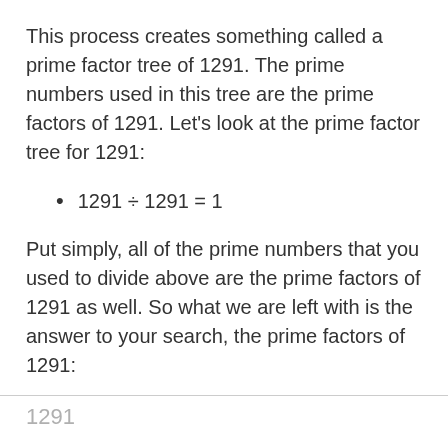This process creates something called a prime factor tree of 1291. The prime numbers used in this tree are the prime factors of 1291. Let's look at the prime factor tree for 1291:
1291 ÷ 1291 = 1
Put simply, all of the prime numbers that you used to divide above are the prime factors of 1291 as well. So what we are left with is the answer to your search, the prime factors of 1291:
1291